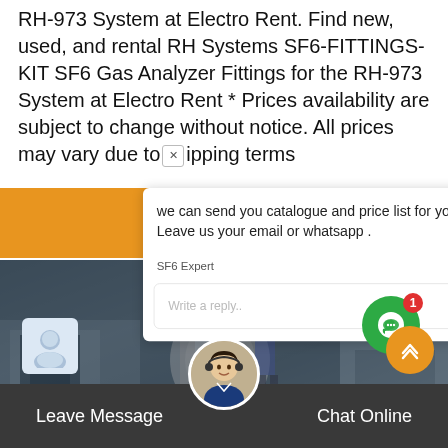RH-973 System at Electro Rent. Find new, used, and rental RH Systems SF6-FITTINGS-KIT SF6 Gas Analyzer Fittings for the RH-973 System at Electro Rent * Prices availability are subject to change without notice. All prices may vary due to [X] ipping terms
[Figure (screenshot): Orange banner background behind chat popup]
[Figure (screenshot): Chat popup showing SF6 Expert message: 'we can send you catalogue and price list for you choosing. Leave us your email or whatsapp .' with user avatar, sender name 'SF6 Expert', timestamp 'just now', and a reply input box with like and attachment icons]
[Figure (photo): Background photo of industrial/electrical equipment with workers]
[Figure (infographic): Green circle notification badge with number 1 and chat icon]
[Figure (infographic): Orange back-to-top arrow button]
Leave Message   Chat Online